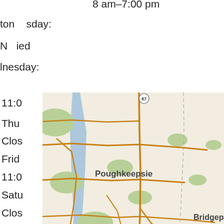8 am–7:00 pm
ton   sday:
N  ied
lnesday:
11:0
Thu
Clos
Frid
11:0
Satu
Clos
Sunday:
Closed
New York City Office Hours
[Figure (map): Map showing the northeastern United States including Poughkeepsie, Stamford, Bridgeport, Brookhaven, Riverhead, and surrounding areas with roads and waterways.]